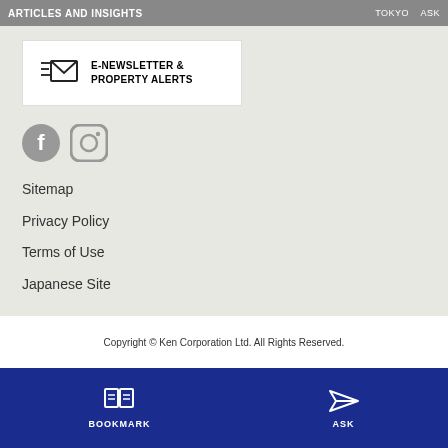ARTICLES AND INSIGHTS   TOKYO   ASK
[Figure (logo): E-Newsletter & Property Alerts box with envelope icon]
[Figure (illustration): Facebook and Instagram social media icons in gray]
Sitemap
Privacy Policy
Terms of Use
Japanese Site
Copyright © Ken Corporation Ltd. All Rights Reserved.
[Figure (infographic): Blue bottom bar with BOOKMARK icon and ASK icon]